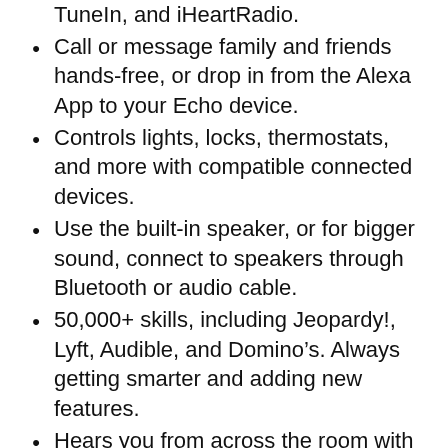TuneIn, and iHeartRadio.
Call or message family and friends hands-free, or drop in from the Alexa App to your Echo device.
Controls lights, locks, thermostats, and more with compatible connected devices.
Use the built-in speaker, or for bigger sound, connect to speakers through Bluetooth or audio cable.
50,000+ skills, including Jeopardy!, Lyft, Audible, and Domino’s. Always getting smarter and adding new features.
Hears you from across the room with 7 far-field microphones for hands-free control, even in noisy environments or while playing music.